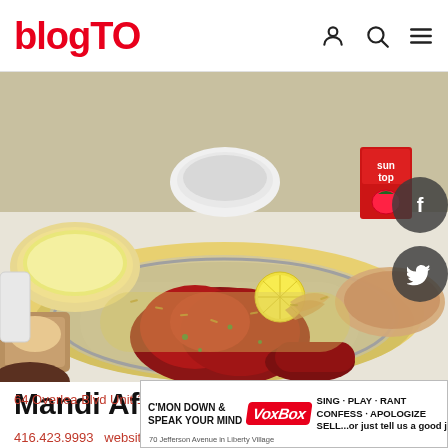blogTO
[Figure (photo): Food photo showing tandoori chicken on a large silver platter with saffron rice, accompanied by bowls of soup, dips, flatbread, and a Suntop juice box on a white table]
Mandi Afandi
64 Overlea Blvd Unit 10
416.423.9993   website
[Figure (other): VoxBox advertisement banner: C'MON DOWN & SPEAK YOUR MIND - VoxBox - SING · PLAY · RANT CONFESS · APOLOGIZE SELL...or just tell us a good joke! - 70 Jefferson Avenue in Liberty Village]